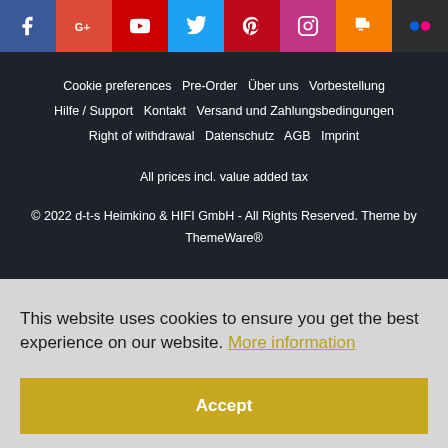[Figure (other): Row of social media icons: Facebook, Google+, YouTube, Twitter, Pinterest, Instagram, Blogger, Flickr]
Cookie preferences   Pre-Order   Über uns   Vorbestellung
Hilfe / Support   Kontakt   Versand und Zahlungsbedingungen
Right of withdrawal   Datenschutz   AGB   Imprint
All prices incl. value added tax
© 2022 d-t-s Heimkino & HIFI GmbH - All Rights Reserved. Theme by ThemeWare®
This website uses cookies to ensure you get the best experience on our website. More information
Accept